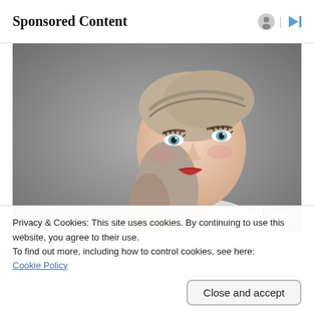Sponsored Content
[Figure (photo): Portrait photo of a young blonde woman with red lipstick, looking to the side against a grey background. Media player controls (previous, pause, next) overlaid at bottom right.]
Privacy & Cookies: This site uses cookies. By continuing to use this website, you agree to their use.
To find out more, including how to control cookies, see here:
Cookie Policy
Close and accept